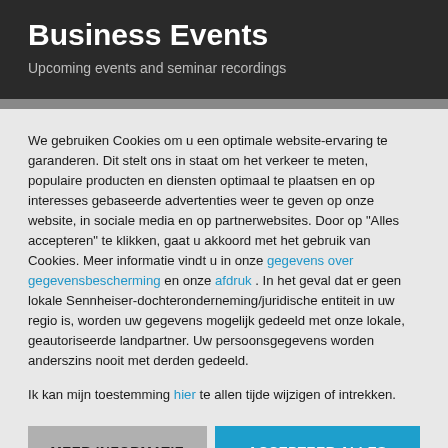Business Events
Upcoming events and seminar recordings
We gebruiken Cookies om u een optimale website-ervaring te garanderen. Dit stelt ons in staat om het verkeer te meten, populaire producten en diensten optimaal te plaatsen en op interesses gebaseerde advertenties weer te geven op onze website, in sociale media en op partnerwebsites. Door op "Alles accepteren" te klikken, gaat u akkoord met het gebruik van Cookies. Meer informatie vindt u in onze gegevens over gegevensbescherming en onze afdruk . In het geval dat er geen lokale Sennheiser-dochteronderneming/juridische entiteit in uw regio is, worden uw gegevens mogelijk gedeeld met onze lokale, geautoriseerde landpartner. Uw persoonsgegevens worden anderszins nooit met derden gedeeld.
Ik kan mijn toestemming hier te allen tijde wijzigen of intrekken.
MEER INFORMATIE
ACCEPTEER ALLES